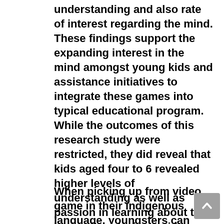understanding and also rate of interest regarding the mind. These findings support the expanding interest in the mind amongst young kids and assistance initiatives to integrate these games into typical educational program. While the outcomes of this research study were restricted, they did reveal that kids aged four to 6 revealed higher levels of understanding as well as passion in learning about the brain after playing a video game than youngsters who had not played the game.
When picking up from video game in their indigenous language, youngsters can commonly do it on